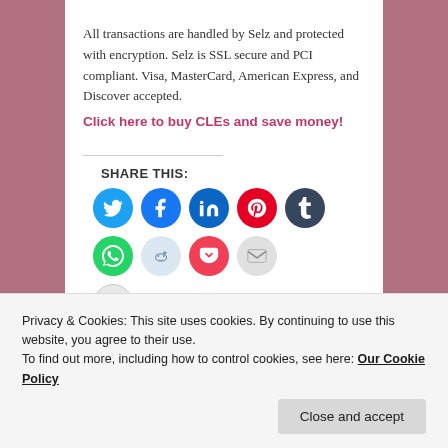All transactions are handled by Selz and protected with encryption. Selz is SSL secure and PCI compliant. Visa, MasterCard, American Express, and Discover accepted.
Click here to buy CLEs and save money!
SHARE THIS:
[Figure (infographic): Row of social media share icon circles: Twitter (blue), Facebook (blue), LinkedIn (dark blue), Pinterest (red), Tumblr (dark navy), WhatsApp (green), Reddit (light blue), Pocket (red), Email (light gray), Print (light gray)]
Loading...
Privacy & Cookies: This site uses cookies. By continuing to use this website, you agree to their use.
To find out more, including how to control cookies, see here: Our Cookie Policy
Client Relations, client screening, cloud computing,